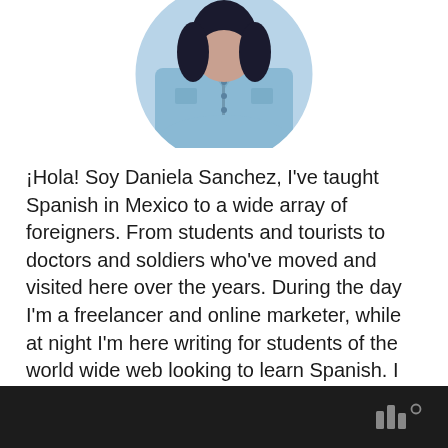[Figure (photo): Circular profile photo of a woman wearing a light blue button-up shirt with dark hair, cropped at the top of the circle showing the upper portion of the image]
¡Hola! Soy Daniela Sanchez, I've taught Spanish in Mexico to a wide array of foreigners. From students and tourists to doctors and soldiers who've moved and visited here over the years. During the day I'm a freelancer and online marketer, while at night I'm here writing for students of the world wide web looking to learn Spanish. I hope you find what you're looking for here during your journey into Español 🙂
[Figure (logo): Website footer bar in dark/black background with a grey logo mark consisting of three vertical bars of different heights with a degree symbol, resembling a stylized W° logo]